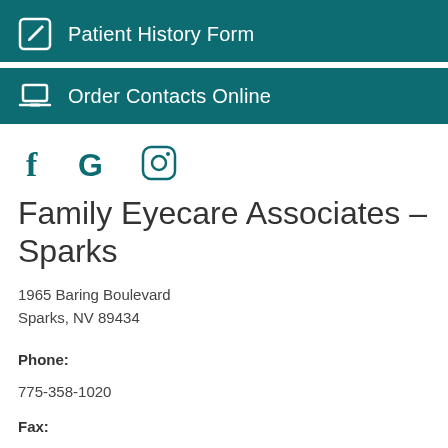Patient History Form
Order Contacts Online
[Figure (other): Social media icons: Facebook (f), Google (G), Instagram (camera/circle icon)]
Family Eyecare Associates – Sparks
1965 Baring Boulevard
Sparks, NV 89434
Phone:
775-358-1020
Fax:
775-358-7951
Email: